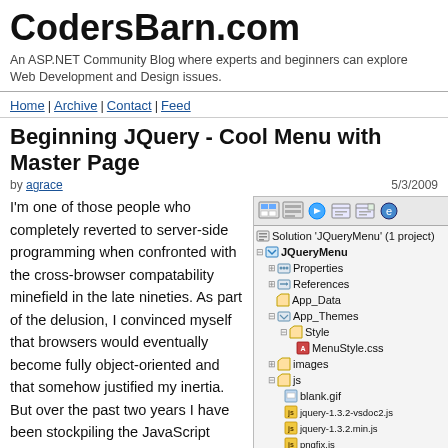CodersBarn.com
An ASP.NET Community Blog where experts and beginners can explore Web Development and Design issues.
Home | Archive | Contact | Feed
Beginning JQuery - Cool Menu with Master Page
by agrace   5/3/2009
I'm one of those people who completely reverted to server-side programming when confronted with the cross-browser compatability minefield in the late nineties. As part of the delusion, I convinced myself that browsers would eventually become fully object-oriented and that somehow justified my inertia. But over the past two years I have been stockpiling the JavaScript textbooks and had even started in on the basics... but let's face it, the JavaScript syntax, although flexible, is
[Figure (screenshot): Visual Studio Solution Explorer showing JQueryMenu project with folders: Properties, References, App_Data, App_Themes (containing Style/MenuStyle.css), images, js (containing blank.gif, jquery-1.3.2-vsdoc2.js, jquery-1.3.2.min.js, pngfix.js)]